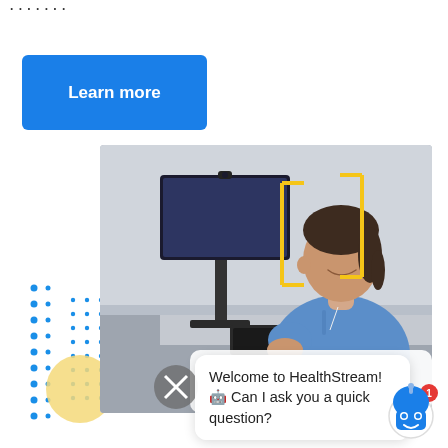Learn more
[Figure (photo): Healthcare worker in blue scrubs typing on a computer keyboard, viewed from side profile. A computer monitor is visible. Yellow bracket graphic overlaid on the image. Decorative blue dot grid and yellow circle on the left side.]
Welcome to HealthStream! 🤖 Can I ask you a quick question?